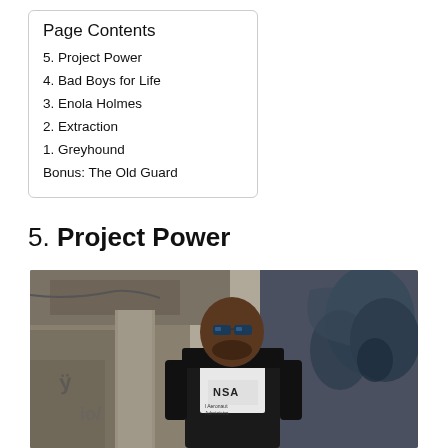Page Contents
5. Project Power
4. Bad Boys for Life
3. Enola Holmes
2. Extraction
1. Greyhound
Bonus: The Old Guard
5. Project Power
[Figure (photo): A man wearing sunglasses and a NASA t-shirt standing in front of a graffiti-covered wall in an urban setting.]